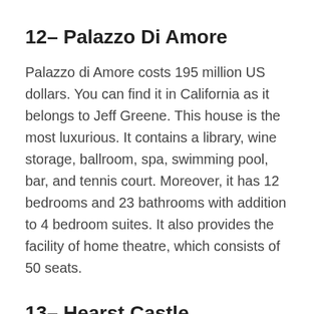12– Palazzo Di Amore
Palazzo di Amore costs 195 million US dollars. You can find it in California as it belongs to Jeff Greene. This house is the most luxurious. It contains a library, wine storage, ballroom, spa, swimming pool, bar, and tennis court. Moreover, it has 12 bedrooms and 23 bathrooms with addition to 4 bedroom suites. It also provides the facility of home theatre, which consists of 50 seats.
13– Hearst Castle